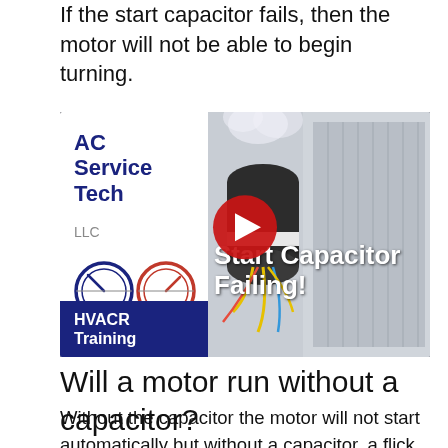If the start capacitor fails, then the motor will not be able to begin turning.
[Figure (screenshot): YouTube video thumbnail for 'Start Capacitor Failing!' by AC Service Tech LLC, HVACR Training. Shows an HVAC unit with wiring visible, a play button overlay, and the text 'Start Capacitor Failing!' in white bold text.]
Will a motor run without a capacitor?
Without the capacitor the motor will not start automatically but without a capacitor, a flick on the shaft will make the single phase